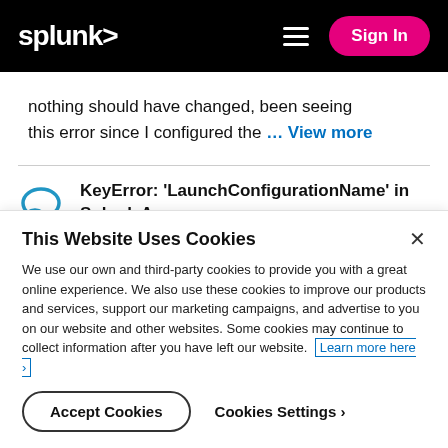splunk> Sign In
nothing should have changed, been seeing this error since I configured the … View more
KeyError: 'LaunchConfigurationName' in Splunk App ... by cemeyer2 in All Apps and Add-ons
This Website Uses Cookies
We use our own and third-party cookies to provide you with a great online experience. We also use these cookies to improve our products and services, support our marketing campaigns, and advertise to you on our website and other websites. Some cookies may continue to collect information after you have left our website. Learn more here ›
Accept Cookies   Cookies Settings ›